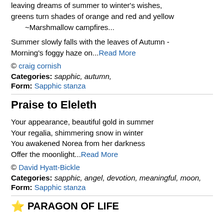leaving dreams of summer to winter's wishes,
greens turn shades of orange and red and yellow
    ~Marshmallow campfires...
Summer slowly falls with the leaves of Autumn -
Morning's foggy haze on...Read More
© craig cornish
Categories: sapphic, autumn,
Form: Sapphic stanza
Praise to Eleleth
Your appearance, beautiful gold in summer
Your regalia, shimmering snow in winter
You awakened Norea from her darkness
Offer the moonlight...Read More
© David Hyatt-Bickle
Categories: sapphic, angel, devotion, meaningful, moon,
Form: Sapphic stanza
⭐ PARAGON OF LIFE